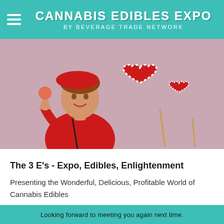CANNABIS EDIBLES EXPO by BEVERAGE TRADE NETWORK
[Figure (photo): Young woman in red dress and red beret holding an ice cream cone, with two large heart-shaped red and white striped lollipops on sticks in the background against a pink/mauve background.]
The 3 E's - Expo, Edibles, Enlightenment
Presenting the Wonderful, Delicious, Profitable World of Cannabis Edibles
Read more
Looking forward to meeting you again next time.